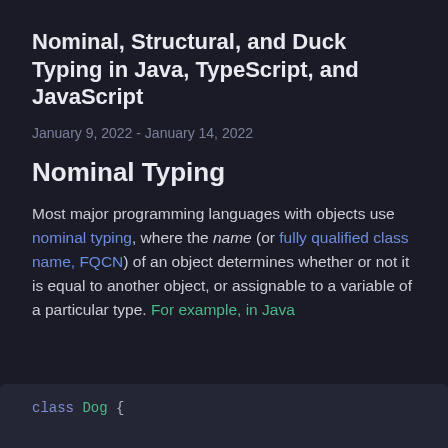Nominal, Structural, and Duck Typing in Java, TypeScript, and JavaScript
January 9, 2022 - January 14, 2022
Nominal Typing
Most major programming languages with objects use nominal typing, where the name (or fully qualified class name, FQCN) of an object determines whether or not it is equal to another object, or assignable to a variable of a particular type. For example, in Java
class Dog {